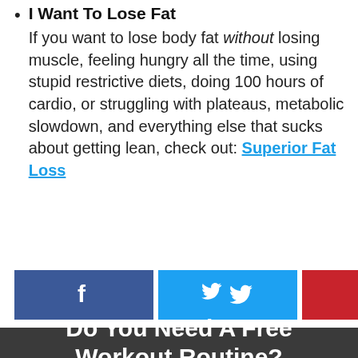I Want To Lose Fat
If you want to lose body fat without losing muscle, feeling hungry all the time, using stupid restrictive diets, doing 100 hours of cardio, or struggling with plateaus, metabolic slowdown, and everything else that sucks about getting lean, check out: Superior Fat Loss
[Figure (infographic): Social share buttons: Facebook (blue), Twitter (light blue), Pinterest (red), with share count 809 SHARES]
Do You Need A Free Workout Routine?